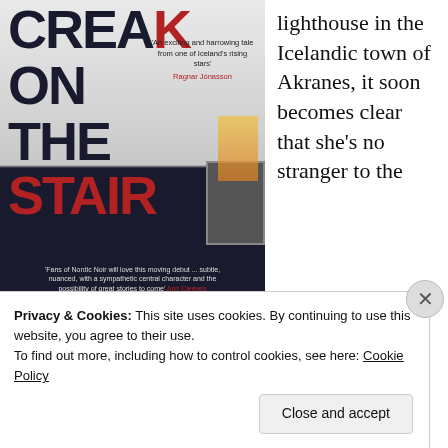[Figure (photo): Book cover of 'Creak on the Stairs' with dark navy and red typography, silhouette figure, and atmospheric Nordic landscape. Quote from Ragnar Jónasson: 'An exciting and harrowing tale from one of Iceland's rising stars'. Bottom quote: 'Fans of Nordic Noir will love this moving debut ... subtle, nuanced, with a sympathetic central character and the possibility of great stories to come' Ann Cleeves]
lighthouse in the Icelandic town of Akranes, it soon becomes clear that she's no stranger to the
Privacy & Cookies: This site uses cookies. By continuing to use this website, you agree to their use.
To find out more, including how to control cookies, see here: Cookie Policy
Close and accept